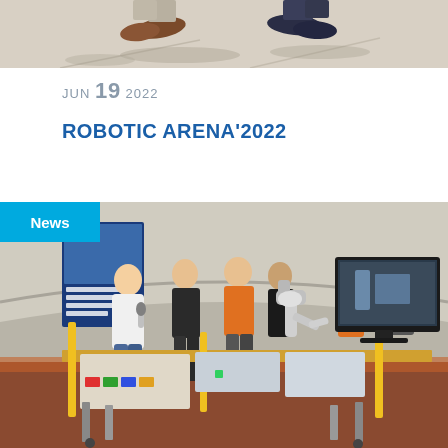[Figure (photo): Top portion of a photo showing feet/shoes of people standing on a light floor with shadows]
JUN 19 2022
ROBOTIC ARENA'2022
[Figure (photo): Photo of people gathered around a robotic industrial automation workstation inside a tent/dome structure. A presenter in white shirt holds a microphone. A robotic arm and manufacturing equipment are visible. A monitor shows imagery on the right. A banner on the left reads 'Kolo Naukowe Inzynier XXI wieku'. A blue 'News' badge overlays the top-left corner.]